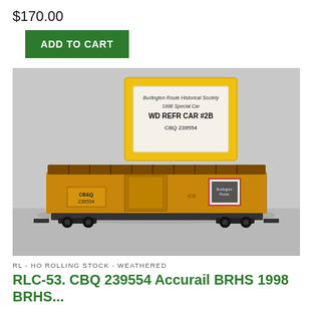$170.00
ADD TO CART
[Figure (photo): Photo of a model HO scale railroad refrigerator car (yellow/orange, CB&Q 239554) with a yellow product card showing Burlington Route Historical Society 1998 Special Car, WD REFR CAR #2B, CBQ 239554]
RL - HO ROLLING STOCK - WEATHERED
RLC-53. CBQ 239554 Accurail BRHS 1998 BRHS...